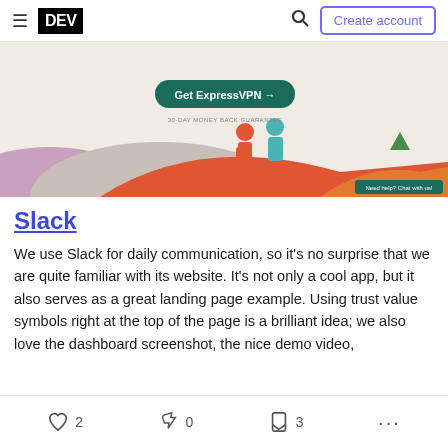DEV | Create account
[Figure (photo): Advertisement banner for ExpressVPN showing two illustrated figures (a person in red and a person in teal) walking on a red hill. Green button with text 'Get ExpressVPN →' and '30-DAY MONEY BACK GUARANTEE'. Small banner 'Need help? Chat with us!' in bottom right corner.]
Slack
We use Slack for daily communication, so it's no surprise that we are quite familiar with its website. It's not only a cool app, but it also serves as a great landing page example. Using trust value symbols right at the top of the page is a brilliant idea; we also love the dashboard screenshot, the nice demo video, and the…
2  0  3  ...